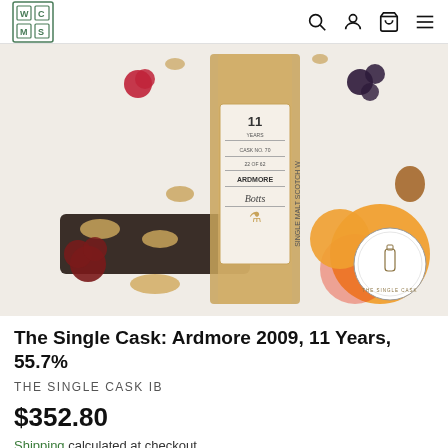Navigation header with logo and icons
[Figure (photo): Product photo of The Single Cask Ardmore 2009 whisky bottle label surrounded by fruits, nuts, and berries on a white background. A circular 'The Single Cask' logo appears in the bottom right corner.]
The Single Cask: Ardmore 2009, 11 Years, 55.7%
THE SINGLE CASK IB
$352.80
Shipping calculated at checkout.